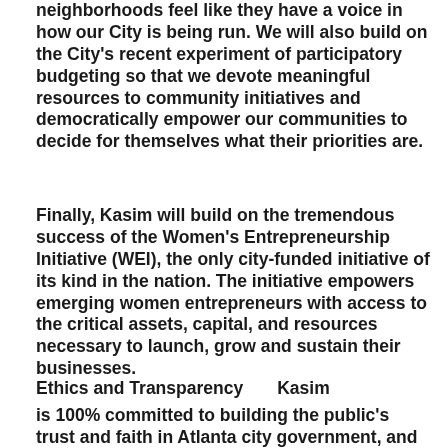neighborhoods feel like they have a voice in how our City is being run. We will also build on the City's recent experiment of participatory budgeting so that we devote meaningful resources to community initiatives and democratically empower our communities to decide for themselves what their priorities are.
Finally, Kasim will build on the tremendous success of the Women's Entrepreneurship Initiative (WEI), the only city-funded initiative of its kind in the nation. The initiative empowers emerging women entrepreneurs with access to the critical assets, capital, and resources necessary to launch, grow and sustain their businesses.
Ethics and Transparency
Kasim is 100% committed to building the public's trust and faith in Atlanta city government, and understands that begins with the mayor. Kasim